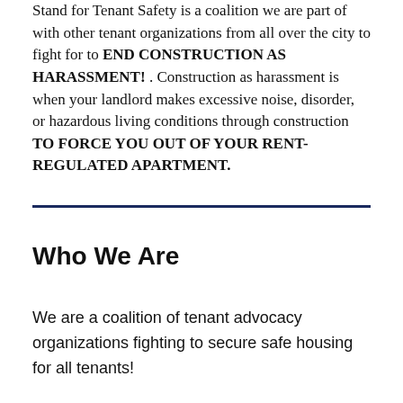Stand for Tenant Safety is a coalition we are part of with other tenant organizations from all over the city to fight for to END CONSTRUCTION AS HARASSMENT! . Construction as harassment is when your landlord makes excessive noise, disorder, or hazardous living conditions through construction TO FORCE YOU OUT OF YOUR RENT-REGULATED APARTMENT.
Who We Are
We are a coalition of tenant advocacy organizations fighting to secure safe housing for all tenants!